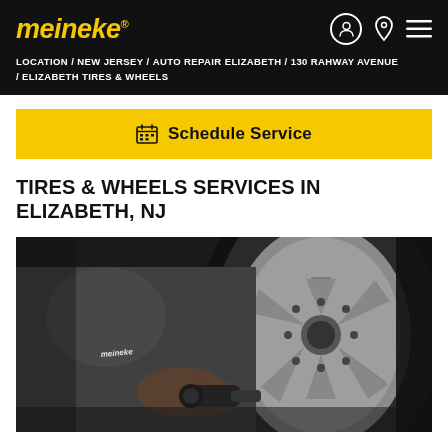meineke
LOCATION / NEW JERSEY / AUTO REPAIR ELIZABETH / 130 RAHWAY AVENUE / ELIZABETH TIRES & WHEELS
Schedule Service
TIRES & WHEELS SERVICES IN ELIZABETH, NJ
[Figure (photo): A Meineke mechanic wearing a grey t-shirt with Meineke logo works on a car wheel/tire using a power tool, close-up photo of silver alloy wheel and black tire]